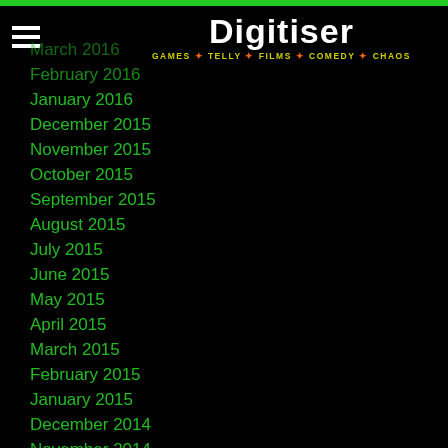[Figure (logo): Digitiser logo with white bold text and yellow tagline 'GAMES * TELLY * FILMS * COMEDY * CHAOS']
March 2016
February 2016
January 2016
December 2015
November 2015
October 2015
September 2015
August 2015
July 2015
June 2015
May 2015
April 2015
March 2015
February 2015
January 2015
December 2014
November 2014